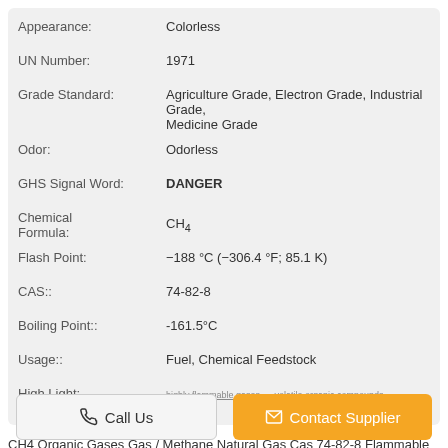| Property | Value |
| --- | --- |
| Appearance: | Colorless |
| UN Number: | 1971 |
| Grade Standard: | Agriculture Grade, Electron Grade, Industrial Grade, Medicine Grade |
| Odor: | Odorless |
| GHS Signal Word: | DANGER |
| Chemical Formula: | CH4 |
| Flash Point: | −188 °C (−306.4 °F; 85.1 K) |
| CAS:: | 74-82-8 |
| Boiling Point:: | -161.5°C |
| Usage:: | Fuel, Chemical Feedstock |
| High Light: | highly flammable gases , volatile organic compounds |
CH4 Organic Gases Gas / Methane Natural Gas Cas 74-82-8 Flammable Description: 1. The relative abundance of methane on Earth makes it an attractive fuel, though capturing and storing it poses challenges due to ...
Tags: volatile organic compounds , voc gas